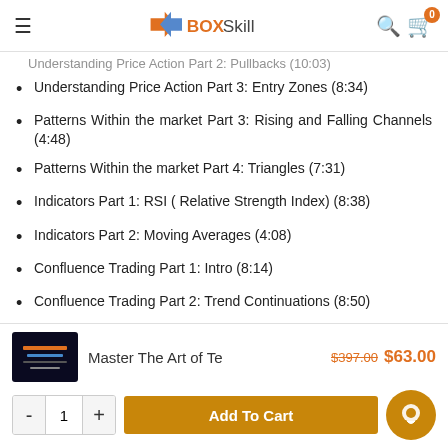BOXSkill
Understanding Price Action Part 2: Pullbacks (10:03)
Understanding Price Action Part 3: Entry Zones (8:34)
Patterns Within the market Part 3: Rising and Falling Channels (4:48)
Patterns Within the market Part 4: Triangles (7:31)
Indicators Part 1: RSI ( Relative Strength Index) (8:38)
Indicators Part 2: Moving Averages (4:08)
Confluence Trading Part 1: Intro (8:14)
Confluence Trading Part 2: Trend Continuations (8:50)
Confluence Trading Part 3: Counter trending (6:56)
Confluence Trading Part 4: Flag Patterns (4:14)
Master The Art of Te  $397.00 $63.00  - 1 + Add To Cart